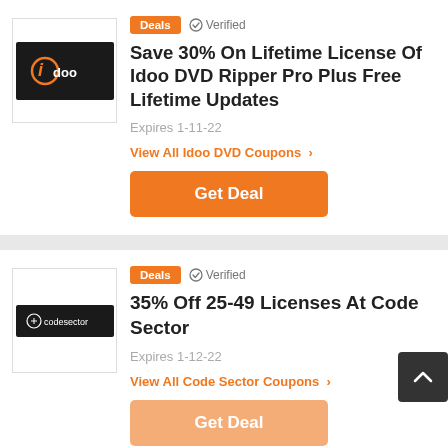[Figure (logo): Idoo DVD Ripper Pro logo - dark background with orange and white stylized i logo and 'idoo' text]
Deals
✓ Verified
Save 30% On Lifetime License Of Idoo DVD Ripper Pro Plus Free Lifetime Updates
Expires 1-11-22
View All Idoo DVD Coupons >
Get Deal
[Figure (logo): Code Sector logo - dark background with white text 'codesector']
Deals
✓ Verified
35% Off 25-49 Licenses At Code Sector
Expires 1-12-22
View All Code Sector Coupons >